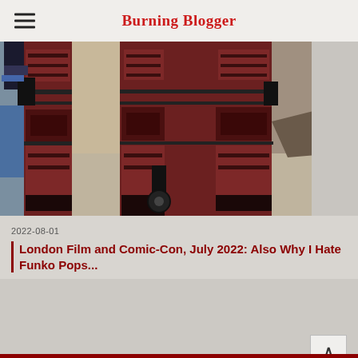Burning Blogger
[Figure (photo): Photo of people in red armored costumes (likely Deadpool cosplay) at a convention, showing lower body/legs in detailed red and black armor with straps and knee pads. A wheeled cart is visible in the middle. Background shows a convention floor.]
2022-08-01
London Film and Comic-Con, July 2022: Also Why I Hate Funko Pops...